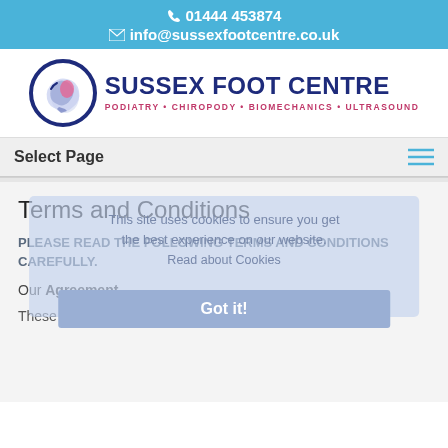📞 01444 453874
✉ info@sussexfootcentre.co.uk
[Figure (logo): Sussex Foot Centre logo with circular foot/ankle diagram and text: SUSSEX FOOT CENTRE - PODIATRY • CHIROPODY • BIOMECHANICS • ULTRASOUND]
Select Page
Terms and Conditions
This site uses cookies to ensure you get the best experience on our website. Read about Cookies
Got it!
PLEASE READ THE FOLLOWING TERMS AND CONDITIONS CAREFULLY.
Our Agreement
These Terms and Conditions, along with any part of